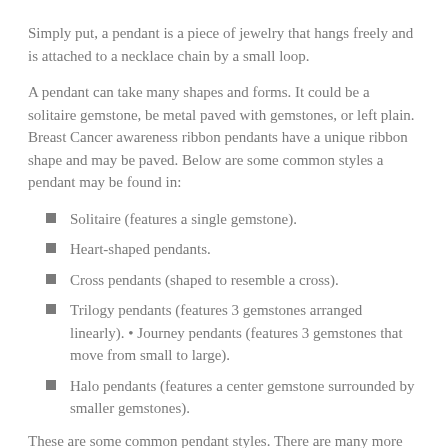Simply put, a pendant is a piece of jewelry that hangs freely and is attached to a necklace chain by a small loop.
A pendant can take many shapes and forms. It could be a solitaire gemstone, be metal paved with gemstones, or left plain. Breast Cancer awareness ribbon pendants have a unique ribbon shape and may be paved. Below are some common styles a pendant may be found in:
Solitaire (features a single gemstone).
Heart-shaped pendants.
Cross pendants (shaped to resemble a cross).
Trilogy pendants (features 3 gemstones arranged linearly). • Journey pendants (features 3 gemstones that move from small to large).
Halo pendants (features a center gemstone surrounded by smaller gemstones).
These are some common pendant styles. There are many more unique styles to choose from though.